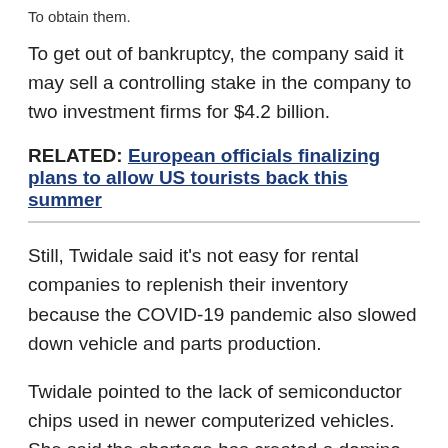To get out of bankruptcy, the company said it may sell a controlling stake in the company to two investment firms for $4.2 billion.
RELATED: European officials finalizing plans to allow US tourists back this summer
Still, Twidale said it's not easy for rental companies to replenish their inventory because the COVID-19 pandemic also slowed down vehicle and parts production.
Twidale pointed to the lack of semiconductor chips used in newer computerized vehicles. She said the shortage has created a domino effect, making it hard for auto companies to manufacture vehicles and rental companies to obtain them.